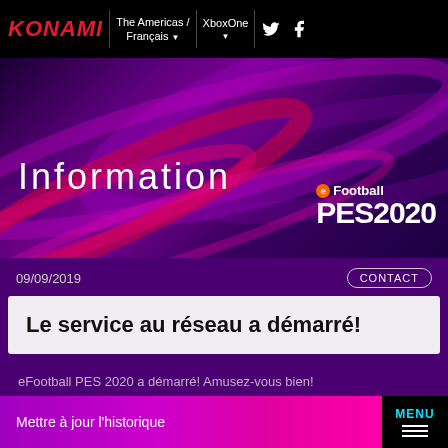KONAMI | The Americas / Français ▼ | XboxOne ▼ | Twitter | Facebook
[Figure (illustration): eFootball PES 2020 hero banner with purple swirling background graphic and 'Information' title on left, eFootball PES2020 logo on right]
Information
09/09/2019
CONTACT
Le service au réseau a démarré!
eFootball PES 2020 a démarré! Amusez-vous bien!
Mettre à jour l'historique
MENU